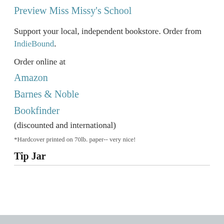Preview Miss Missy's School
Support your local, independent bookstore. Order from IndieBound.
Order online at
Amazon
Barnes & Noble
Bookfinder (discounted and international)
*Hardcover printed on 70lb. paper-- very nice!
Tip Jar